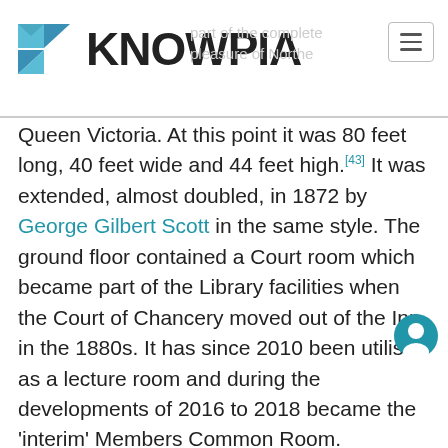KNOWPIA
Queen Victoria. At this point it was 80 feet long, 40 feet wide and 44 feet high.[43] It was extended, almost doubled, in 1872 by George Gilbert Scott in the same style. The ground floor contained a Court room which became part of the Library facilities when the Court of Chancery moved out of the Inn in the 1880s. It has since 2010 been utilised as a lecture room and during the developments of 2016 to 2018 became the 'interim' Members Common Room.
The Library contains a large collection of rare books, including the Hale Manuscripts, the complete collection of Sir Matthew Hale, which he left to th on his death in 1676. The Library also contains over 1,000 other rare manuscripts, and approximately